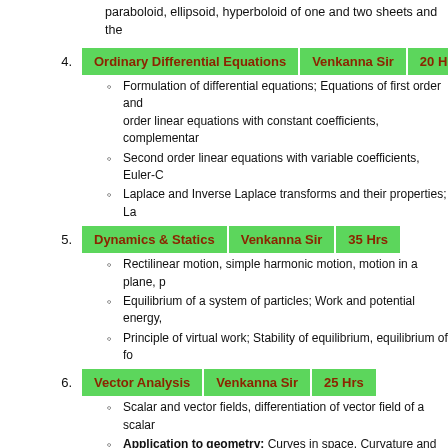paraboloid, ellipsoid, hyperboloid of one and two sheets and the
Ordinary Differential Equations   Venkanna Sir   20 Hrs
Formulation of differential equations; Equations of first order and order linear equations with constant coefficients, complementary
Second order linear equations with variable coefficients, Euler-C
Laplace and Inverse Laplace transforms and their properties; La
Dynamics & Statics   Venkanna Sir   35 Hrs
Rectilinear motion, simple harmonic motion, motion in a plane, p
Equilibrium of a system of particles; Work and potential energy,
Principle of virtual work; Stability of equilibrium, equilibrium of fo
Vector Analysis   Venkanna Sir   25 Hrs
Scalar and vector fields, differentiation of vector field of a scalar
Application to geometry: Curves in space, Curvature and tors
Gauss and Stokes' theorems, Green's identities.
MATHEMATICS SYLLABUS for PAPER 2
Abstract Algebra   Venkanna Sir   40 Hrs